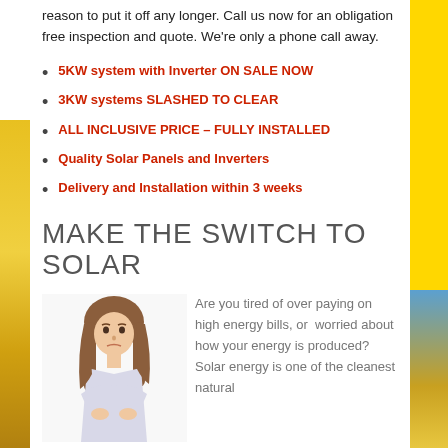reason to put it off any longer. Call us now for an obligation free inspection and quote. We're only a phone call away.
5KW system with Inverter ON SALE NOW
3KW systems SLASHED TO CLEAR
ALL INCLUSIVE PRICE – FULLY INSTALLED
Quality Solar Panels and Inverters
Delivery and Installation within 3 weeks
MAKE THE SWITCH TO SOLAR
[Figure (photo): Woman with frustrated expression, arms crossed, wearing white shirt]
Are you tired of over paying on high energy bills, or  worried about how your energy is produced? Solar energy is one of the cleanest natural